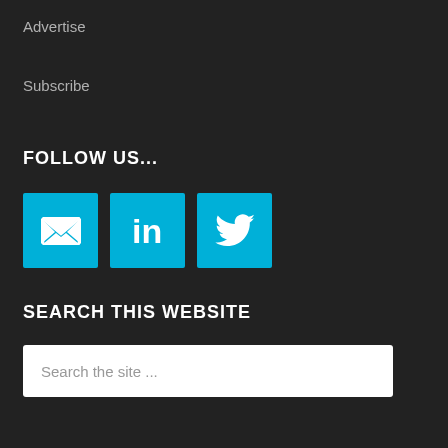Advertise
Subscribe
FOLLOW US...
[Figure (infographic): Three social media icon buttons: email (envelope icon), LinkedIn (in icon), and Twitter (bird icon), all in cyan/teal color]
SEARCH THIS WEBSITE
Search the site ...